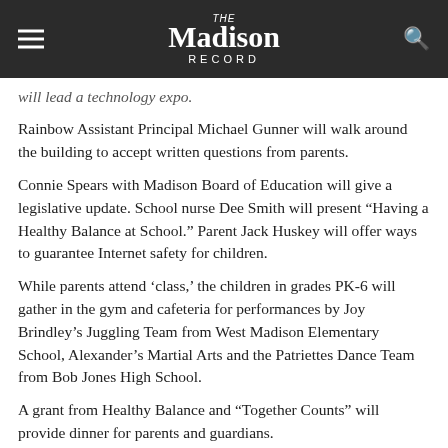The Madison Record
will lead a technology expo.
Rainbow Assistant Principal Michael Gunner will walk around the building to accept written questions from parents.
Connie Spears with Madison Board of Education will give a legislative update. School nurse Dee Smith will present “Having a Healthy Balance at School.” Parent Jack Huskey will offer ways to guarantee Internet safety for children.
While parents attend ‘class,’ the children in grades PK-6 will gather in the gym and cafeteria for performances by Joy Brindley’s Juggling Team from West Madison Elementary School, Alexander’s Martial Arts and the Patriettes Dance Team from Bob Jones High School.
A grant from Healthy Balance and “Together Counts” will provide dinner for parents and guardians.
Registration deadline is Feb. 14. Registration forms are available at the school, or online at rainbowpta.org or by emailing to sonjabillgriffith@live.com.
LATEST LOCAL NEWS